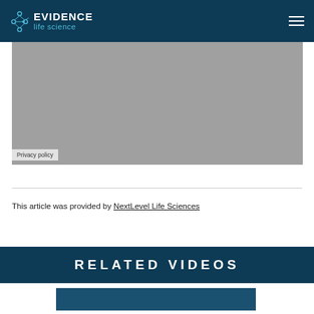EVIDENCE life science
[Figure (other): Gray video placeholder with Privacy policy label in bottom-left corner]
This article was provided by NextLevel Life Sciences
RELATED VIDEOS